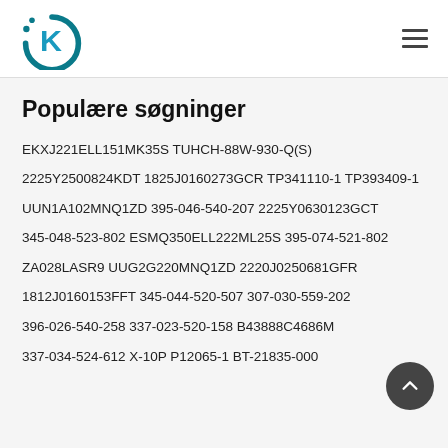KD logo and hamburger menu
Populære søgninger
EKXJ221ELL151MK35S TUHCH-88W-930-Q(S)
2225Y2500824KDT 1825J0160273GCR TP341110-1 TP393409-1
UUN1A102MNQ1ZD 395-046-540-207 2225Y0630123GCT
345-048-523-802 ESMQ350ELL222ML25S 395-074-521-802
ZA028LASR9 UUG2G220MNQ1ZD 2220J0250681GFR
1812J0160153FFT 345-044-520-507 307-030-559-202
396-026-540-258 337-023-520-158 B43888C4686M
337-034-524-612 X-10P P12065-1 BT-21835-000